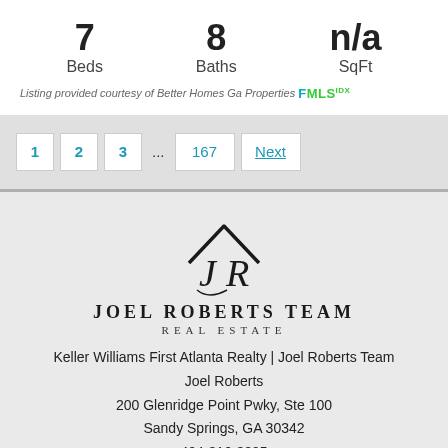7 Beds
8 Baths
n/a SqFt
Listing provided courtesy of Better Homes Ga Properties FMLS IDX
1 2 3 ... 167 Next
[Figure (logo): Joel Roberts Team Real Estate logo — stylized JR monogram with roof/chevron above, company name below]
Keller Williams First Atlanta Realty | Joel Roberts Team
Joel Roberts
200 Glenridge Point Pwky, Ste 100
Sandy Springs, GA 30342
404-316-3295